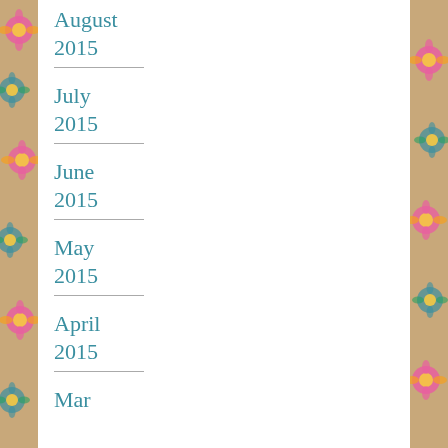August 2015
July 2015
June 2015
May 2015
April 2015
Mar